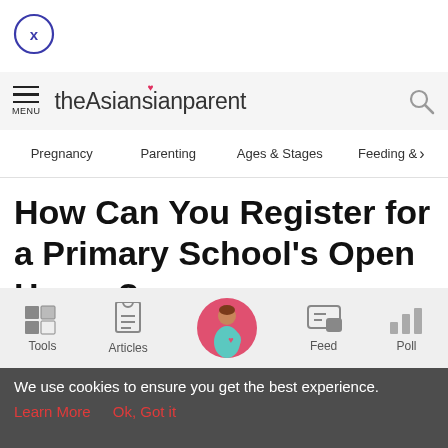[Figure (logo): Close button circle with X]
theAsianparent
Pregnancy  Parenting  Ages & Stages  Feeding & >
How Can You Register for a Primary School's Open House?
[Figure (infographic): Bottom navigation bar with Tools, Articles, pregnant woman logo, Feed, Poll icons]
We use cookies to ensure you get the best experience.
Learn More   Ok, Got it